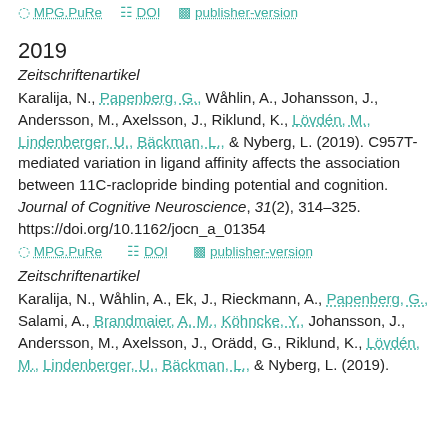MPG.PuRe  DOI  publisher-version
2019
Zeitschriftenartikel
Karalija, N., Papenberg, G., Wåhlin, A., Johansson, J., Andersson, M., Axelsson, J., Riklund, K., Lövdén, M., Lindenberger, U., Bäckman, L., & Nyberg, L. (2019). C957T-mediated variation in ligand affinity affects the association between 11C-raclopride binding potential and cognition. Journal of Cognitive Neuroscience, 31(2), 314–325. https://doi.org/10.1162/jocn_a_01354
MPG.PuRe  DOI  publisher-version
Zeitschriftenartikel
Karalija, N., Wåhlin, A., Ek, J., Rieckmann, A., Papenberg, G., Salami, A., Brandmaier, A. M., Köhncke, Y., Johansson, J., Andersson, M., Axelsson, J., Orädd, G., Riklund, K., Lövdén, M., Lindenberger, U., Bäckman, L., & Nyberg, L. (2019).